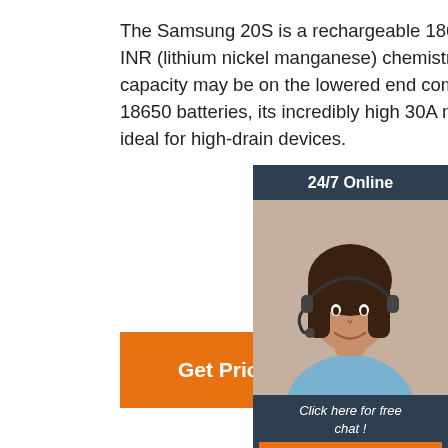The Samsung 20S is a rechargeable 18650 battery that utilizes INR (lithium nickel manganese) chemistry. While its 2,000mAh capacity may be on the lowered end compared to other Samsung 18650 batteries, its incredibly high 30A max discharge makes it ideal for high-drain devices.
[Figure (other): Customer support chat widget overlay showing '24/7 Online' header, a female agent with headset smiling, 'Click here for free chat!' text, and an orange QUOTATION button, on a dark blue-grey background.]
[Figure (other): Orange 'Get Price' button on white background.]
[Figure (photo): Product photo of a large flat rectangular black battery pack with handles and wiring connectors, placed on a light grey surface.]